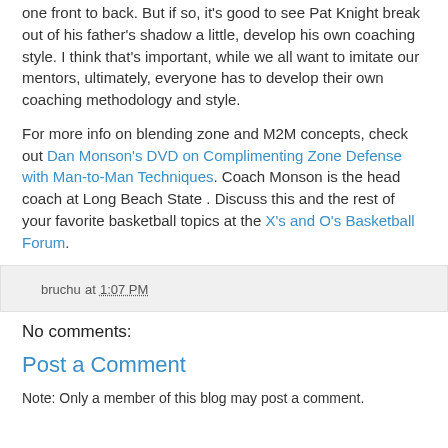one front to back. But if so, it's good to see Pat Knight break out of his father's shadow a little, develop his own coaching style. I think that's important, while we all want to imitate our mentors, ultimately, everyone has to develop their own coaching methodology and style.
For more info on blending zone and M2M concepts, check out Dan Monson's DVD on Complimenting Zone Defense with Man-to-Man Techniques. Coach Monson is the head coach at Long Beach State . Discuss this and the rest of your favorite basketball topics at the X's and O's Basketball Forum.
bruchu at 1:07 PM
No comments:
Post a Comment
Note: Only a member of this blog may post a comment.